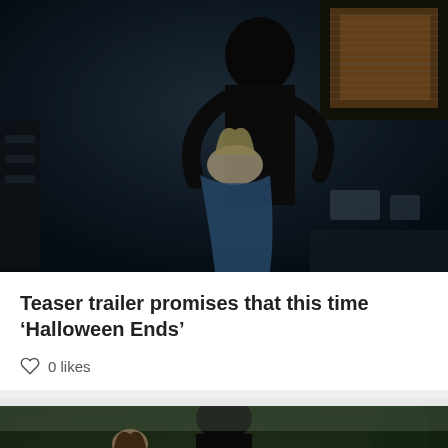[Figure (photo): Dark horror movie still showing a masked figure (Michael Myers) grabbing a blonde woman from behind in a dimly lit kitchen setting]
Teaser trailer promises that this time ‘Halloween Ends’
0 likes
[Figure (photo): Second horror movie still showing a dark silhouetted figure from behind facing a woman with brown hair outdoors with trees in background]